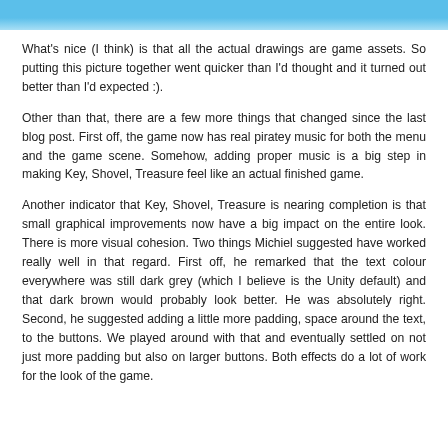[Figure (illustration): Top banner image showing a game scene with blue sky background and partial view of a brown character/object]
What's nice (I think) is that all the actual drawings are game assets. So putting this picture together went quicker than I'd thought and it turned out better than I'd expected :).
Other than that, there are a few more things that changed since the last blog post. First off, the game now has real piratey music for both the menu and the game scene. Somehow, adding proper music is a big step in making Key, Shovel, Treasure feel like an actual finished game.
Another indicator that Key, Shovel, Treasure is nearing completion is that small graphical improvements now have a big impact on the entire look. There is more visual cohesion. Two things Michiel suggested have worked really well in that regard. First off, he remarked that the text colour everywhere was still dark grey (which I believe is the Unity default) and that dark brown would probably look better. He was absolutely right. Second, he suggested adding a little more padding, space around the text, to the buttons. We played around with that and eventually settled on not just more padding but also on larger buttons. Both effects do a lot of work for the look of the game.